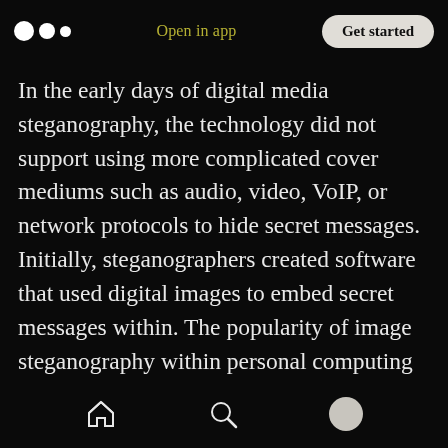Medium logo | Open in app | Get started
In the early days of digital media steganography, the technology did not support using more complicated cover mediums such as audio, video, VoIP, or network protocols to hide secret messages. Initially, steganographers created software that used digital images to embed secret messages within. The popularity of image steganography within personal computing and privacy social circles skyrocketed and it did not take long for pedophiles to begin using digital image steganography to trade their illegal content
Home | Search | Profile